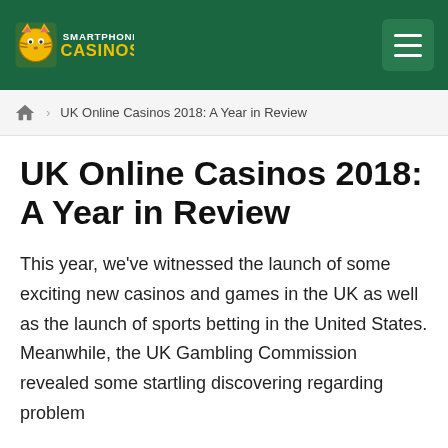Smartphone Casinos [logo] [hamburger menu]
🏠 › UK Online Casinos 2018: A Year in Review
UK Online Casinos 2018: A Year in Review
This year, we've witnessed the launch of some exciting new casinos and games in the UK as well as the launch of sports betting in the United States. Meanwhile, the UK Gambling Commission revealed some startling discovering regarding problem